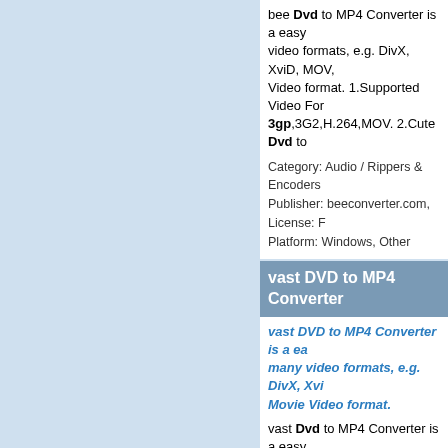bee Dvd to MP4 Converter is a easy video formats, e.g. DivX, XviD, MOV Video format. 1.Supported Video Formats: 3gp,3G2,H.264,MOV. 2.Cute Dvd to
Category: Audio / Rippers & Encoders Publisher: beeconverter.com, License: Platform: Windows, Other
vast DVD to MP4 Converter
vast DVD to MP4 Converter is a easy many video formats, e.g. DivX, XviD, Movie Video format.
vast Dvd to MP4 Converter is a easy video formats, e.g. DivX, XviD, MOV Video format. 1.Supported Video Format 3gp,3G2,H.264,MOV. 2.Cute Dvd to
Category: Audio / Rippers & Encoders Publisher: vastconverter.com, License: Platform: Windows, Other
dudu DVD to MP4 Converter
dudu DVD to MP4 Converter is a e many video formats, e.g. DivX, XviD, Movie Video format.
dudu Dvd to MP4 Converter is a easy video formats, e.g. DivX, MOV,